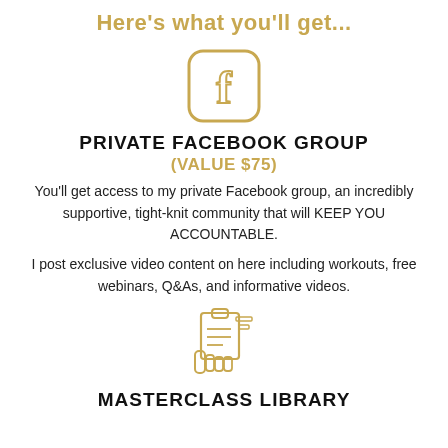Here's what you'll get...
[Figure (illustration): Facebook logo icon outlined in gold — rounded square with F letter]
PRIVATE FACEBOOK GROUP
(VALUE $75)
You'll get access to my private Facebook group, an incredibly supportive, tight-knit community that will KEEP YOU ACCOUNTABLE.
I post exclusive video content on here including workouts, free webinars, Q&As, and informative videos.
[Figure (illustration): Hand holding clipboard/document icon outlined in gold]
MASTERCLASS LIBRARY